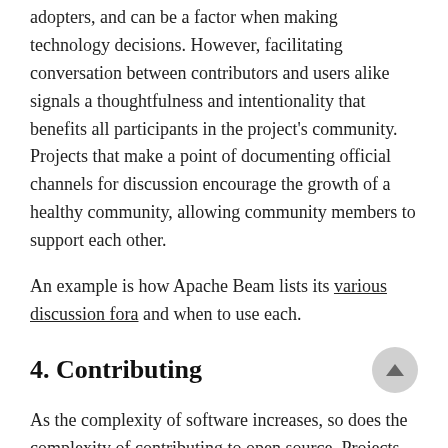adopters, and can be a factor when making technology decisions. However, facilitating conversation between contributors and users alike signals a thoughtfulness and intentionality that benefits all participants in the project's community. Projects that make a point of documenting official channels for discussion encourage the growth of a healthy community, allowing community members to support each other.
An example is how Apache Beam lists its various discussion fora and when to use each.
4. Contributing
As the complexity of software increases, so does the complexity of contributing to open source. Projects